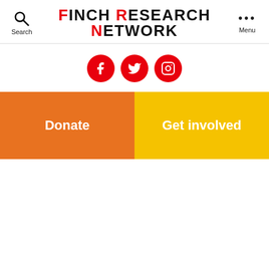FINCH RESEARCH NETWORK — Search | Menu navigation
[Figure (illustration): Social media icons row: Facebook, Twitter, Instagram — all red circles with white icons]
Donate
Get involved